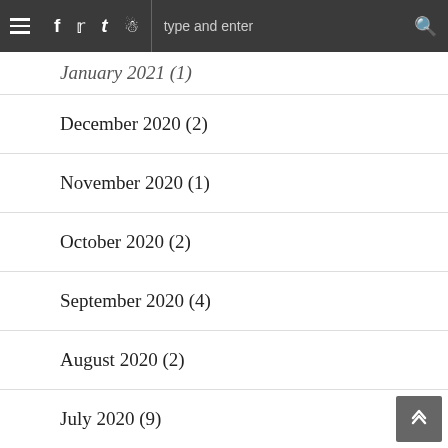≡  f  𝕥  t  ☷  type and enter  🔍
January 2021 (1)
December 2020 (2)
November 2020 (1)
October 2020 (2)
September 2020 (4)
August 2020 (2)
July 2020 (9)
June 2020 (21)
May 2020 (16)
April 2020 (20)